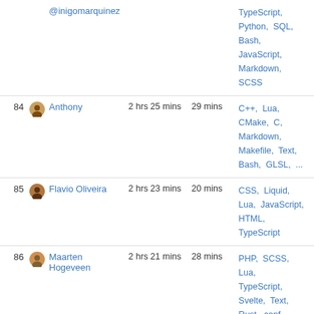| # |  | Name | Total | Daily avg | Languages |
| --- | --- | --- | --- | --- | --- |
|  |  | @inigomarquinez |  |  | TypeScript, Python, SQL, Bash, JavaScript, Markdown, SCSS |
| 84 |  | Anthony | 2 hrs 25 mins | 29 mins | C++, Lua, CMake, C, Markdown, Makefile, Text, Bash, GLSL, ... |
| 85 |  | Flavio Oliveira | 2 hrs 23 mins | 20 mins | CSS, Liquid, Lua, JavaScript, HTML, TypeScript |
| 86 |  | Maarten Hogeveen | 2 hrs 21 mins | 28 mins | PHP, SCSS, Lua, TypeScript, Svelte, Text, Rust, conf, JSON, ... |
| 87 |  | Zer0Cool0 | 2 hrs 20 mins | 20 mins | JavaScript, Lua, JSON, Bash, ... |